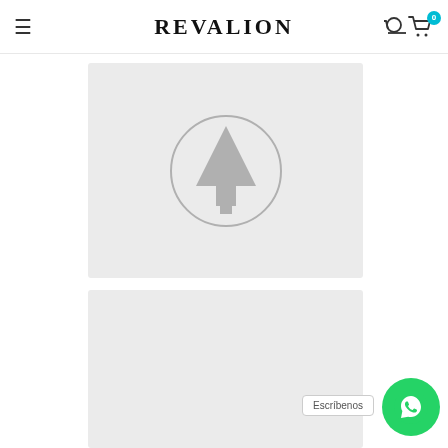REVALION
[Figure (logo): Revalion product placeholder image with tree/arrow icon in a circle on light grey background]
[Figure (photo): Second product image placeholder on light grey background with Escríbenos WhatsApp button]